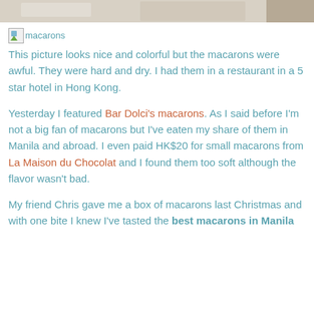[Figure (photo): Top portion of a photo, likely showing macarons or a food/table scene, cropped at top of page]
[Figure (photo): Broken image placeholder with alt text 'macarons' followed by link text 'macarons']
This picture looks nice and colorful but the macarons were awful. They were hard and dry. I had them in a restaurant in a 5 star hotel in Hong Kong.
Yesterday I featured Bar Dolci's macarons. As I said before I'm not a big fan of macarons but I've eaten my share of them in Manila and abroad. I even paid HK$20 for small macarons from La Maison du Chocolat and I found them too soft although the flavor wasn't bad.
My friend Chris gave me a box of macarons last Christmas and with one bite I knew I've tasted the best macarons in Manila